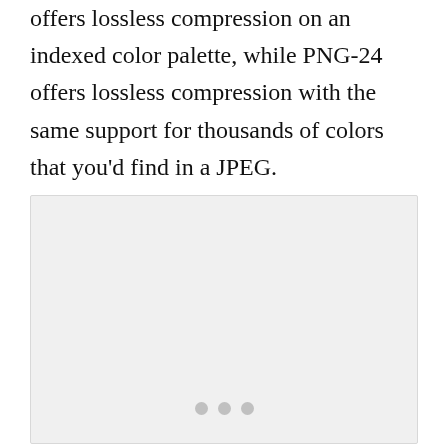offers lossless compression on an indexed color palette, while PNG-24 offers lossless compression with the same support for thousands of colors that you'd find in a JPEG.
[Figure (other): A light gray placeholder image box with three small gray dots centered near the bottom, indicating a loading or empty image state.]